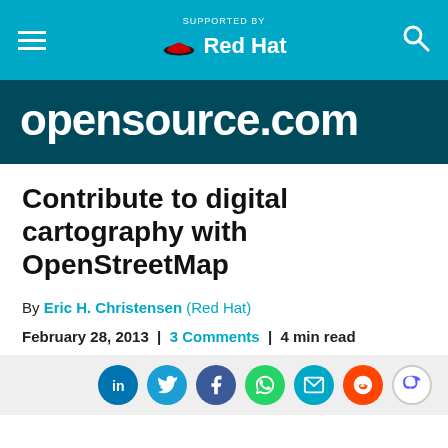SUPPORTED BY Red Hat
opensource.com
Contribute to digital cartography with OpenStreetMap
By Eric H. Christensen (Red Hat)
February 28, 2013  |  3 Comments  |  4 min read
[Figure (other): Social sharing icons: LinkedIn, Twitter, Facebook, WhatsApp, Email, Reddit, Mastodon]